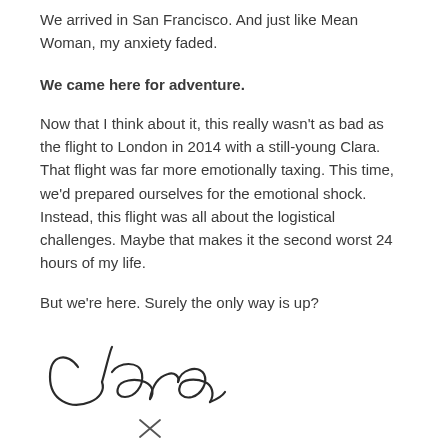We arrived in San Francisco. And just like Mean Woman, my anxiety faded.
We came here for adventure.
Now that I think about it, this really wasn't as bad as the flight to London in 2014 with a still-young Clara. That flight was far more emotionally taxing. This time, we'd prepared ourselves for the emotional shock. Instead, this flight was all about the logistical challenges. Maybe that makes it the second worst 24 hours of my life.
But we're here. Surely the only way is up?
[Figure (illustration): A handwritten cursive signature reading 'Clare' followed by a hand-drawn x mark below it.]